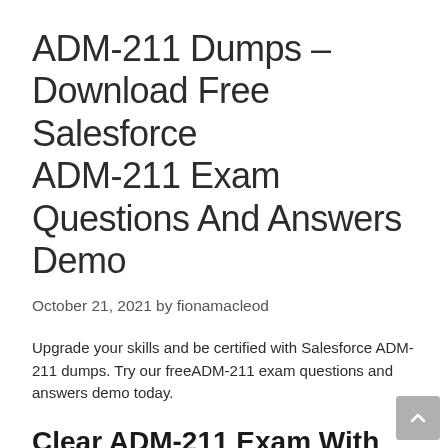ADM-211 Dumps – Download Free Salesforce ADM-211 Exam Questions And Answers Demo
October 21, 2021 by fionamacleod
Upgrade your skills and be certified with Salesforce ADM-211 dumps. Try our freeADM-211 exam questions and answers demo today.
Clear ADM-211 Exam With Salesforce ADM-211 Dumps